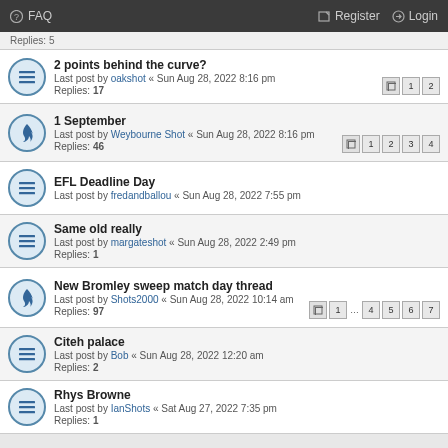FAQ  Register  Login
Replies: 5
2 points behind the curve?
Last post by oakshot « Sun Aug 28, 2022 8:16 pm
Replies: 17
1 September
Last post by Weybourne Shot « Sun Aug 28, 2022 8:16 pm
Replies: 46
EFL Deadline Day
Last post by fredandballou « Sun Aug 28, 2022 7:55 pm
Same old really
Last post by margateshot « Sun Aug 28, 2022 2:49 pm
Replies: 1
New Bromley sweep match day thread
Last post by Shots2000 « Sun Aug 28, 2022 10:14 am
Replies: 97
Citeh palace
Last post by Bob « Sun Aug 28, 2022 12:20 am
Replies: 2
Rhys Browne
Last post by IanShots « Sat Aug 27, 2022 7:35 pm
Replies: 1